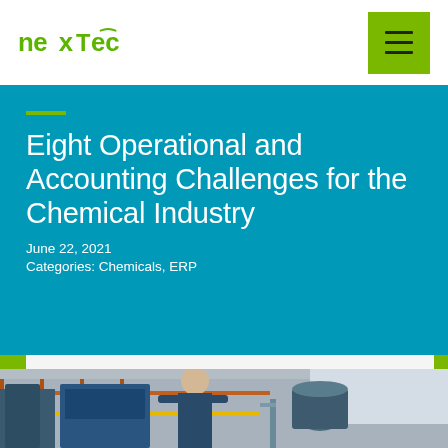nextec [logo] | hamburger menu
Eight Operational and Accounting Challenges for the Chemical Industry
June 22, 2021
Categories: Chemicals, ERP
[Figure (photo): Chemical plant worker in industrial facility with machinery and equipment in background]